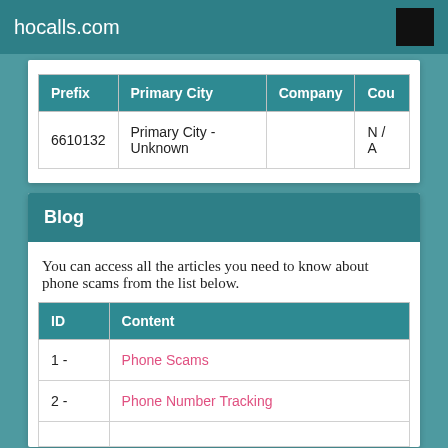hocalls.com
| Prefix | Primary City | Company | Cou |
| --- | --- | --- | --- |
| 6610132 | Primary City - Unknown |  | N / A |
Blog
You can access all the articles you need to know about phone scams from the list below.
| ID | Content |
| --- | --- |
| 1 - | Phone Scams |
| 2 - | Phone Number Tracking |